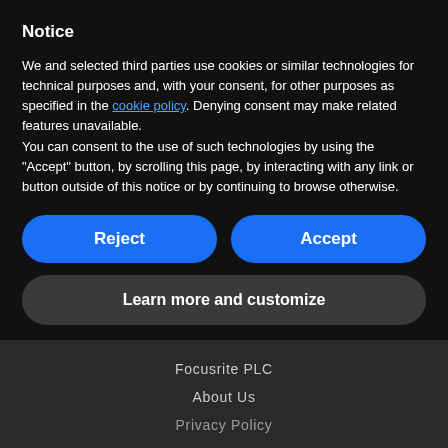Notice
We and selected third parties use cookies or similar technologies for technical purposes and, with your consent, for other purposes as specified in the cookie policy. Denying consent may make related features unavailable.
You can consent to the use of such technologies by using the "Accept" button, by scrolling this page, by interacting with any link or button outside of this notice or by continuing to browse otherwise.
Reject
Accept
Learn more and customize
Focusrite PLC
About Us
Privacy Policy